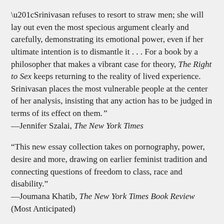“Srinivasan refuses to resort to straw men; she will lay out even the most specious argument clearly and carefully, demonstrating its emotional power, even if her ultimate intention is to dismantle it . . . For a book by a philosopher that makes a vibrant case for theory, The Right to Sex keeps returning to the reality of lived experience. Srinivasan places the most vulnerable people at the center of her analysis, insisting that any action has to be judged in terms of its effect on them.” —Jennifer Szalai, The New York Times
“This new essay collection takes on pornography, power, desire and more, drawing on earlier feminist tradition and connecting questions of freedom to class, race and disability.” —Joumana Khatib, The New York Times Book Review (Most Anticipated)
“[Srinivasan] shows us how to let philosophical arguments clarify debates within popular culture, and how to read popular culture as a way of wrestling with moral dilemmas related to sex, feminism, equality, and freedom . . . Imbued with the breath of